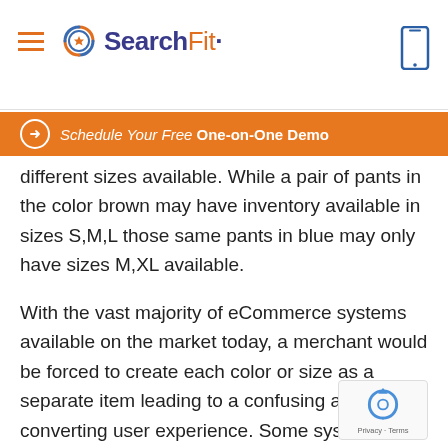SearchFit
Schedule Your Free One-on-One Demo
different sizes available. While a pair of pants in the color brown may have inventory available in sizes S,M,L those same pants in blue may only have sizes M,XL available.
With the vast majority of eCommerce systems available on the market today, a merchant would be forced to create each color or size as a separate item leading to a confusing and poorly converting user experience. Some systems allow for option dependencies but have no integration between these dependencies and the systems inventory management. The latter scenario leads even worse experience because it allows